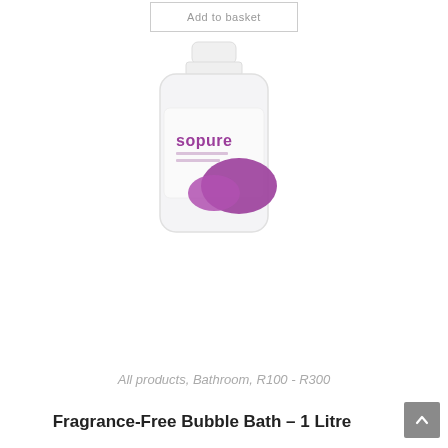Add to basket
[Figure (photo): White plastic bottle with 'sopure' brand name and purple swoosh design on label, product appears to be a bubble bath or similar personal care liquid in a 1 litre container]
All products, Bathroom, R100 - R300
Fragrance-Free Bubble Bath – 1 Litre